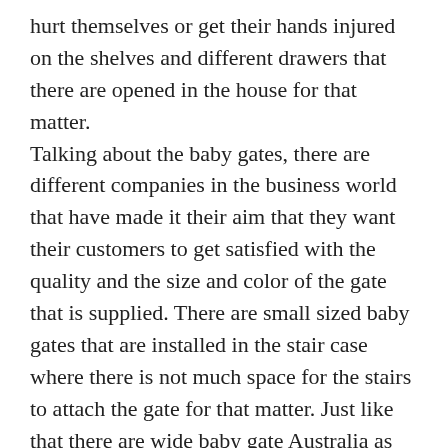hurt themselves or get their hands injured on the shelves and different drawers that there are opened in the house for that matter. Talking about the baby gates, there are different companies in the business world that have made it their aim that they want their customers to get satisfied with the quality and the size and color of the gate that is supplied. There are small sized baby gates that are installed in the stair case where there is not much space for the stairs to attach the gate for that matter. Just like that there are wide baby gate Australia as well, these are the gates that are installed in the walls in front of the stairs so that even if the stairs are very wide, the baby gate is always there to protect the baby. This means that no matter what the size of the staircase is, there are custom made baby gates to fit the place. This means that one can get them made